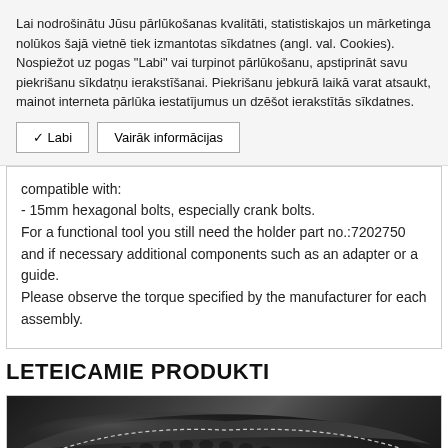Lai nodrošinātu Jūsu pārlūkošanas kvalitāti, statistiskajos un mārketinga nolūkos šajā vietnē tiek izmantotas sīkdatnes (angl. val. Cookies). Nospiežot uz pogas "Labi" vai turpinot pārlūkošanu, apstiprināt savu piekrišanu sīkdatņu ierakstīšanai. Piekrišanu jebkurā laikā varat atsaukt, mainot interneta pārlūka iestatījumus un dzēšot ierakstītās sīkdatnes.
✓ Labi | Vairāk informācijas
compatible with:
- 15mm hexagonal bolts, especially crank bolts.
For a functional tool you still need the holder part no.:7202750 and if necessary additional components such as an adapter or a guide.
Please observe the torque specified by the manufacturer for each assembly.
LETEICAMIE PRODUKTI
[Figure (photo): Close-up photo of a black Azimut bicycle saddle with a textured snake-skin/hexagonal pattern surface and white stitching along the edges.]